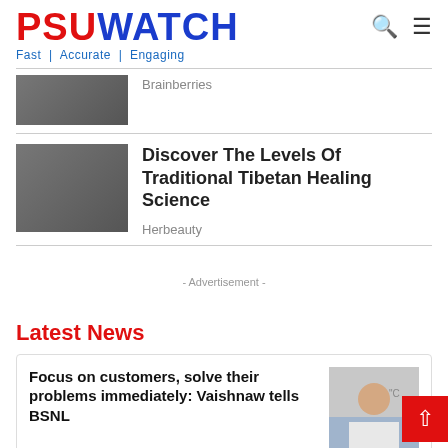PSUWATCH
Fast | Accurate | Engaging
Brainberries
Discover The Levels Of Traditional Tibetan Healing Science
Herbeauty
- Advertisement -
Latest News
Focus on customers, solve their problems immediately: Vaishnaw tells BSNL